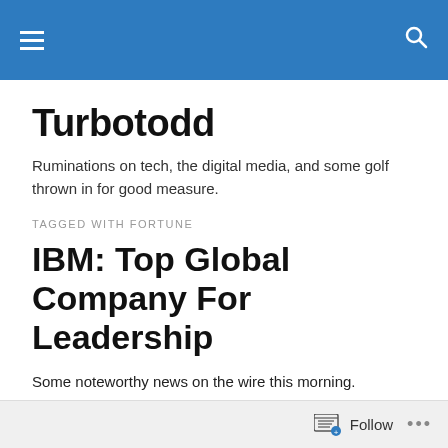Turbotodd [navigation bar with hamburger menu and search icon]
Turbotodd
Ruminations on tech, the digital media, and some golf thrown in for good measure.
TAGGED WITH FORTUNE
IBM: Top Global Company For Leadership
Some noteworthy news on the wire this morning.
IBM was named #1 in FORTUNE magazine's 2011 Global
Follow ...